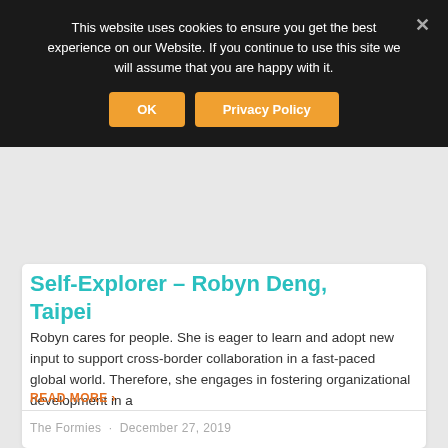This website uses cookies to ensure you get the best experience on our Website. If you continue to use this site we will assume that you are happy with it.
OK
Privacy Policy
Self-Explorer – Robyn Deng, Taipei
Robyn cares for people. She is eager to learn and adopt new input to support cross-border collaboration in a fast-paced global world. Therefore, she engages in fostering organizational development in a
READ MORE ›
The Formies  ·  December 27, 2019